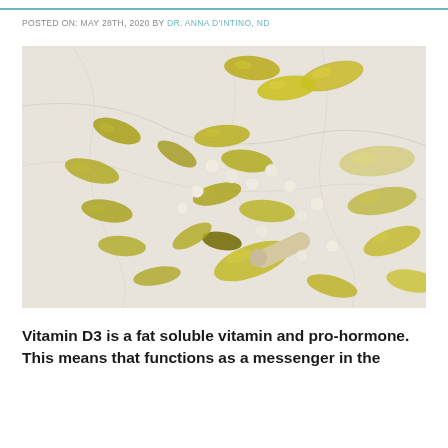POSTED ON: MAY 28TH, 2020 BY DR. ANNA D'INTINO, ND
[Figure (photo): Various vitamin and supplement capsules and gel caps scattered on a marble surface. Includes yellow/golden gel capsules, small white round pills, and a beige capsule pill.]
Vitamin D3 is a fat soluble vitamin and pro-hormone. This means that functions as a messenger in the